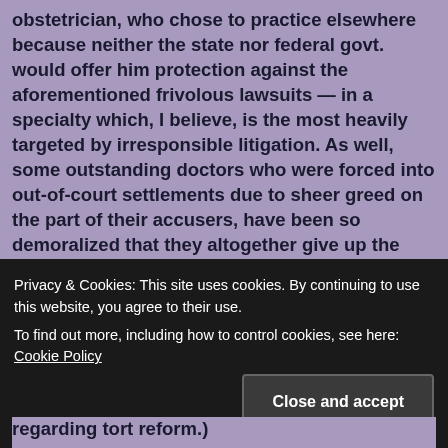obstetrician, who chose to practice elsewhere because neither the state nor federal govt. would offer him protection against the aforementioned frivolous lawsuits — in a specialty which, I believe, is the most heavily targeted by irresponsible litigation. As well, some outstanding doctors who were forced into out-of-court settlements due to sheer greed on the part of their accusers, have been so demoralized that they altogether give up the practice of medicine.

And, as life goes on, the Obama administration does have substantial reason for wanting to completely overhaul the US healthcare system — but according to reliable sources both public and private, plaintiff, attorney regarding tort reform.)
Privacy & Cookies: This site uses cookies. By continuing to use this website, you agree to their use. To find out more, including how to control cookies, see here: Cookie Policy